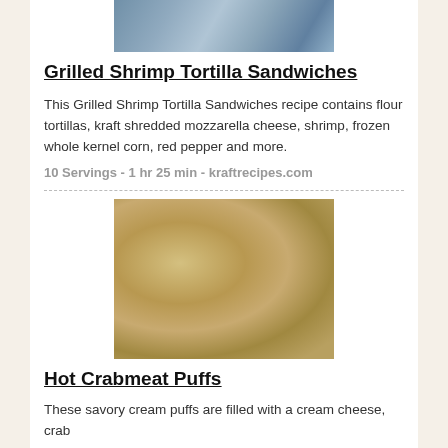[Figure (photo): Photo of Grilled Shrimp Tortilla Sandwiches on a plate]
Grilled Shrimp Tortilla Sandwiches
This Grilled Shrimp Tortilla Sandwiches recipe contains flour tortillas, kraft shredded mozzarella cheese, shrimp, frozen whole kernel corn, red pepper and more.
10 Servings - 1 hr 25 min - kraftrecipes.com
[Figure (photo): Photo of Hot Crabmeat Puffs - small cream puffs on a platter with garnish]
Hot Crabmeat Puffs
These savory cream puffs are filled with a cream cheese, crab